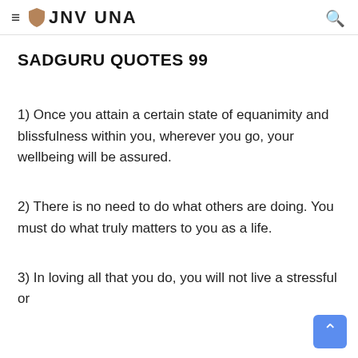≡ JNV UNA 🔍
SADGURU QUOTES 99
1) Once you attain a certain state of equanimity and blissfulness within you, wherever you go, your wellbeing will be assured.
2) There is no need to do what others are doing. You must do what truly matters to you as a life.
3) In loving all that you do, you will not live a stressful or